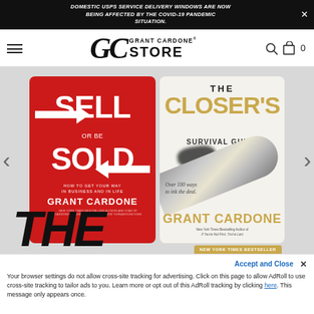DOMESTIC USPS SERVICE DELIVERY WINDOWS ARE NOW BEING AFFECTED BY THE COVID-19 PANDEMIC SITUATION.
[Figure (logo): Grant Cardone Store logo with hamburger menu, GC Store branding, search and cart icons]
[Figure (photo): Two book covers: 'Sell or Be Sold' by Grant Cardone (red cover with arrows) and 'The Closer's Survival Guide' by Grant Cardone (white cover with pen). Partial view of a third book 'The 10X Rule' peeking at the bottom.]
Your browser settings do not allow cross-site tracking for advertising. Click on this page to allow AdRoll to use cross-site tracking to tailor ads to you. Learn more or opt out of this AdRoll tracking by clicking here. This message only appears once.